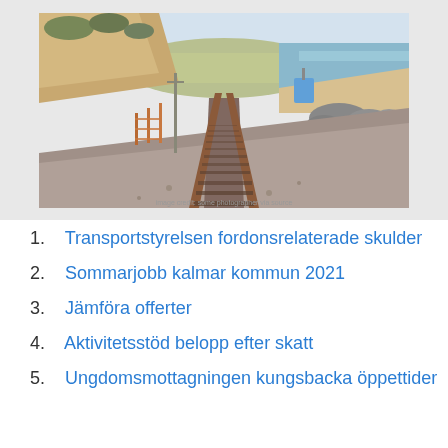[Figure (photo): Photograph of railway tracks stretching into the distance along a coastal area. Rocky cliffs on the left, ocean and beach on the right, gravel trackbed with rusty rails, utility poles, and vegetation in the background.]
1. Transportstyrelsen fordonsrelaterade skulder
2. Sommarjobb kalmar kommun 2021
3. Jämföra offerter
4. Aktivitetsstöd belopp efter skatt
5. Ungdomsmottagningen kungsbacka öppettider